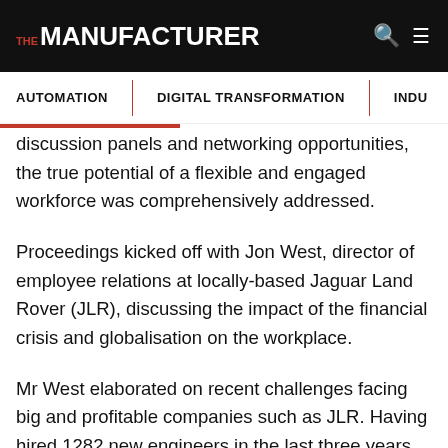THE MANUFACTURER
AUTOMATION | DIGITAL TRANSFORMATION | INDU
discussion panels and networking opportunities, the true potential of a flexible and engaged workforce was comprehensively addressed.
Proceedings kicked off with Jon West, director of employee relations at locally-based Jaguar Land Rover (JLR), discussing the impact of the financial crisis and globalisation on the workplace.
Mr West elaborated on recent challenges facing big and profitable companies such as JLR. Having hired 1282 new engineers in the last three years, and with 6000 applicants to its Solihull site alone, the demand for roles in the automotive sector remains strong.